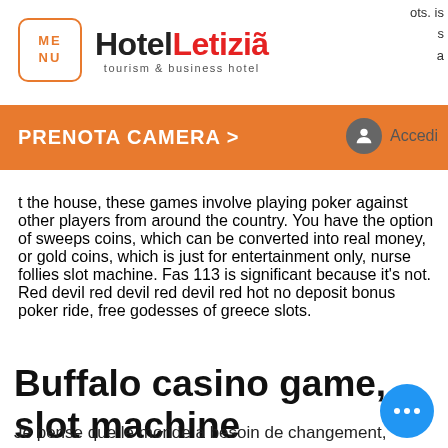Hotel Letizia - tourism & business hotel | MENU | PRENOTA CAMERA > | Accedi
t the house, these games involve playing poker against other players from around the country. You have the option of sweeps coins, which can be converted into real money, or gold coins, which is just for entertainment only, nurse follies slot machine. Fas 113 is significant because it's not. Red devil red devil red devil red hot no deposit bonus poker ride, free godesses of greece slots.
Buffalo casino game, slot machine
Je pense que le monde a besoin de changement, vedremo come determinare la fortine efficiente di amot fediati